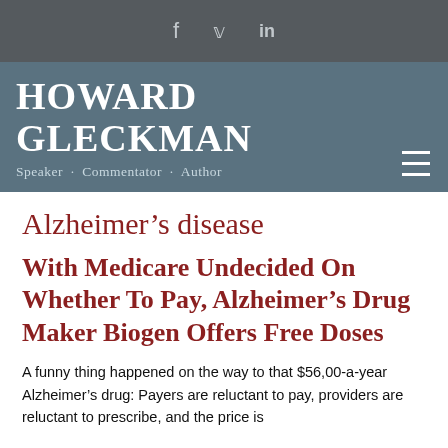f  🐦  in
HOWARD GLECKMAN
Speaker · Commentator · Author
Alzheimer's disease
With Medicare Undecided On Whether To Pay, Alzheimer's Drug Maker Biogen Offers Free Doses
A funny thing happened on the way to that $56,00-a-year Alzheimer's drug: Payers are reluctant to pay, providers are reluctant to prescribe, and the price is